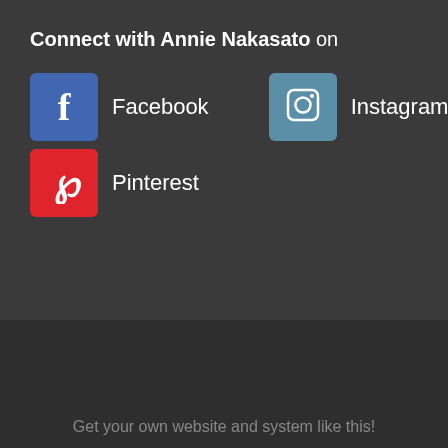Connect with Annie Nakasato on
Facebook
Instagram
Pinterest
Copyrights © 2022 held by respective copyright holders, including Annie Nakasato.
Get your own website and system like this!